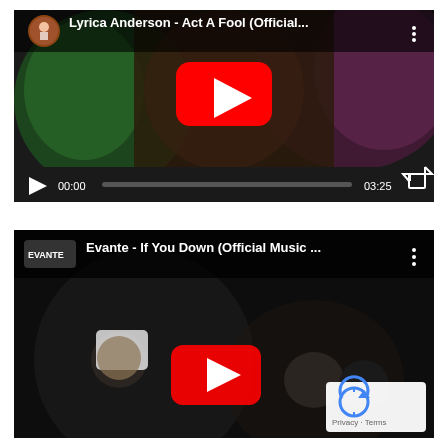[Figure (screenshot): YouTube video embed for 'Lyrica Anderson - Act A Fool (Official...)' showing a music video thumbnail with a person holding a chain necklace, colorful green and pink lighting, a red YouTube play button in the center, channel avatar thumbnail top-left, three-dot menu top-right, playback controls at bottom showing 00:00 / 03:25 with progress bar and fullscreen button]
[Figure (screenshot): YouTube video embed for 'Evante - If You Down (Official Music...)' showing a dark music video thumbnail with people, a red YouTube play button in center, EVANTE channel logo top-left, three-dot menu top-right, reCAPTCHA privacy badge in bottom-right corner with 'Privacy · Terms' text]